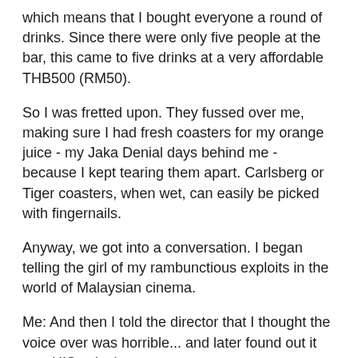which means that I bought everyone a round of drinks. Since there were only five people at the bar, this came to five drinks at a very affordable THB500 (RM50).
So I was fretted upon. They fussed over me, making sure I had fresh coasters for my orange juice - my Jaka Denial days behind me - because I kept tearing them apart. Carlsberg or Tiger coasters, when wet, can easily be picked with fingernails.
Anyway, we got into a conversation. I began telling the girl of my rambunctious exploits in the world of Malaysian cinema.
Me: And then I told the director that I thought the voice over was horrible... and later found out it was HIS voice!
She laughed. She then proceeded to tell me her story - about how she came from the village and got a job in Pattaya and is now saving up for a trip to Europe.
Girl: I lie!